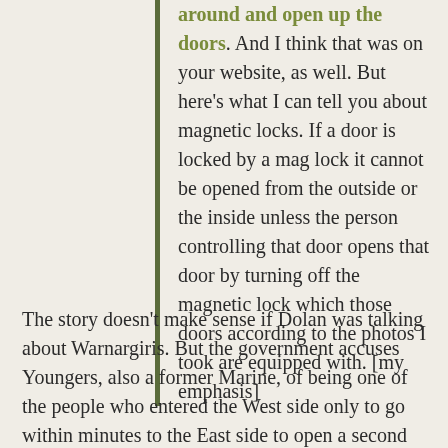around and open up the doors. And I think that was on your website, as well. But here's what I can tell you about magnetic locks. If a door is locked by a mag lock it cannot be opened from the outside or the inside unless the person controlling that door opens that door by turning off the magnetic lock which those doors according to the photos I took are equipped with. [my emphasis]
The story doesn't make sense if Dolan was talking about Warnargiris. But the government accuses Youngers, also a former Marine, of being one of the people who entered the West side only to go within minutes to the East side to open a second front.